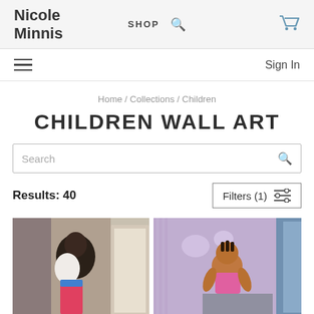Nicole Minnis  SHOP  🔍  🛒
≡  Sign In
Home / Collections / Children
CHILDREN WALL ART
Search
Results: 40  Filters (1)
[Figure (photo): Two artwork product thumbnails: left shows a painting of a woman hugging a child at a doorway; right shows a painting of a young girl in a pink shirt sitting by a blue wall/window.]